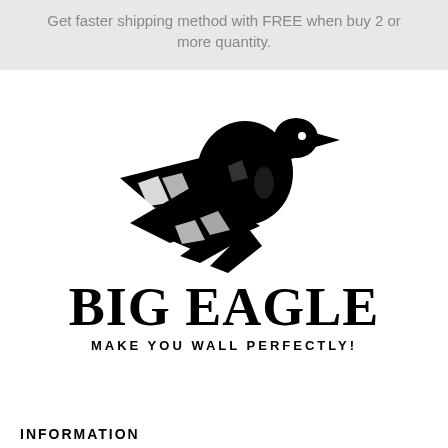Get faster shipping method with FREE when buy 2 or more quantity.
[Figure (logo): Big Eagle logo: black silhouette of an eagle in flight, wings spread downward, with head turned to the right. Below the eagle: 'BIG EAGLE' in large bold serif font, and 'MAKE YOU WALL PERFECTLY!' in smaller bold sans-serif capitals.]
INFORMATION